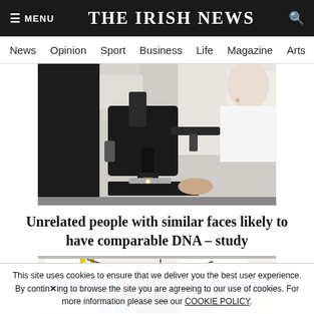☰ MENU   THE IRISH NEWS   🔍
News  Opinion  Sport  Business  Life  Magazine  Arts
[Figure (photo): Close-up of a microscope with a person in white lab coat visible in the background]
Unrelated people with similar faces likely to have comparable DNA – study
[Figure (photo): Workers in hard hats and blue uniforms working on a large piece of industrial equipment suspended from the ceiling]
This site uses cookies to ensure that we deliver you the best user experience. By continuing to browse the site you are agreeing to our use of cookies. For more information please see our COOKIE POLICY.